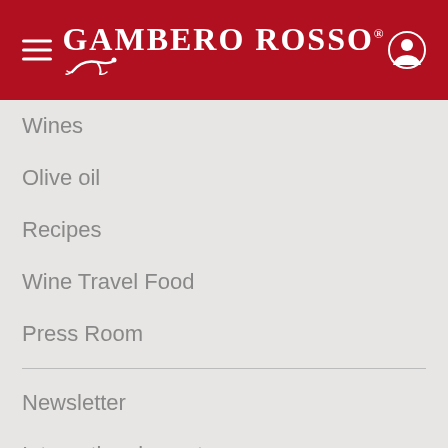GAMBERO ROSSO
Wines
Olive oil
Recipes
Wine Travel Food
Press Room
Newsletter
International events
Premium
Video
Guides & Books
Store
My account